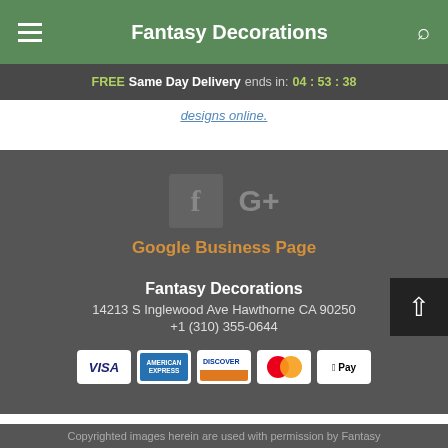Fantasy Decorations
FREE Same Day Delivery ends in: 04 : 53 : 38
designs online.
[Figure (logo): Facebook icon and Google+ icon in gray on dark gray background]
Google Business Page
Fantasy Decorations
14213 S Inglewood Ave Hawthorne CA 90250
+1 (310) 355-0644
[Figure (other): Payment method icons: VISA, American Express, Discover, Mastercard, Apple Pay]
Copyrighted images herein are used with permission by Fantasy